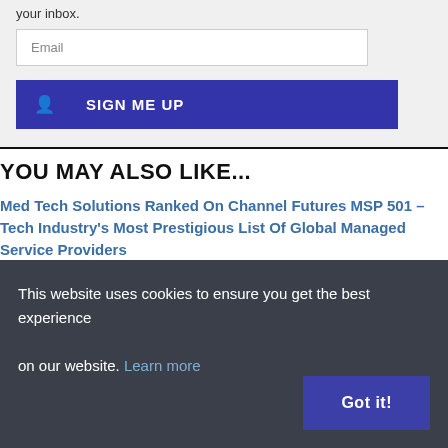your inbox.
Email
SIGN ME UP
YOU MAY ALSO LIKE...
Med Tech Solutions Ranked On Channel Futures MSP 501 – Tech Industry's Most Prestigious List Of Global Managed Service Providers
This website uses cookies to ensure you get the best experience on our website. Learn more
Got it!